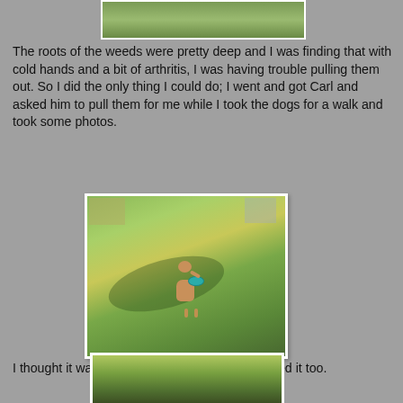[Figure (photo): Partial photo of outdoor scene visible at top of page]
The roots of the weeds were pretty deep and I was finding that with cold hands and a bit of arthritis, I was having trouble pulling them out. So I did the only thing I could do; I went and got Carl and asked him to pull them for me while I took the dogs for a walk and took some photos.
[Figure (photo): A golden retriever dog running on a green lawn carrying a teal frisbee in its mouth, with houses and trees in the background]
I thought it was a fair trade, and the dogs enjoyed it too.
[Figure (photo): Partial photo of trees and greenery visible at bottom of page]